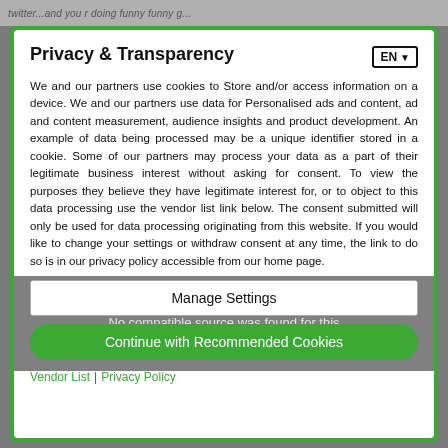Privacy & Transparency
We and our partners use cookies to Store and/or access information on a device. We and our partners use data for Personalised ads and content, ad and content measurement, audience insights and product development. An example of data being processed may be a unique identifier stored in a cookie. Some of our partners may process your data as a part of their legitimate business interest without asking for consent. To view the purposes they believe they have legitimate interest for, or to object to this data processing use the vendor list link below. The consent submitted will only be used for data processing originating from this website. If you would like to change your settings or withdraw consent at any time, the link to do so is in our privacy policy accessible from our home page.
Manage Settings
Continue with Recommended Cookies
Vendor List | Privacy Policy